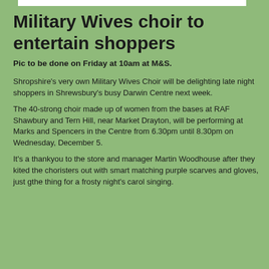Military Wives choir to entertain shoppers
Pic to be done on Friday at 10am at M&S.
Shropshire's very own Military Wives Choir will be delighting late night shoppers in Shrewsbury's busy Darwin Centre next week.
The 40-strong choir made up of women from the bases at RAF Shawbury and Tern Hill, near Market Drayton, will be performing at Marks and Spencers in the Centre from 6.30pm until 8.30pm on Wednesday, December 5.
It's a thankyou to the store and manager Martin Woodhouse after they kited the choristers out with smart matching purple scarves and gloves, just gthe thing for a frosty night's carol singing.